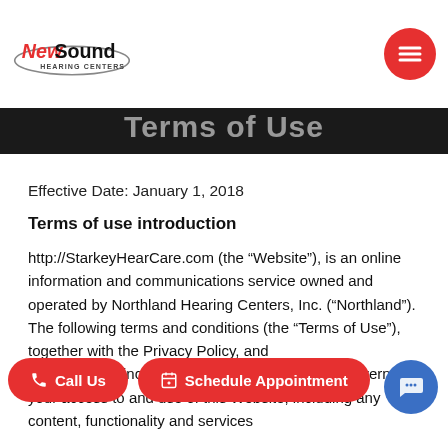NewSound Hearing Centers logo and navigation menu button
Terms of Use
Effective Date: January 1, 2018
Terms of use introduction
http://StarkeyHearCare.com (the “Website”), is an online information and communications service owned and operated by Northland Hearing Centers, Inc. (“Northland”). The following terms and conditions (the “Terms of Use”), together with the Privacy Policy, and any incorporating, govern your access to and use of this Website, including any content, functionality and services